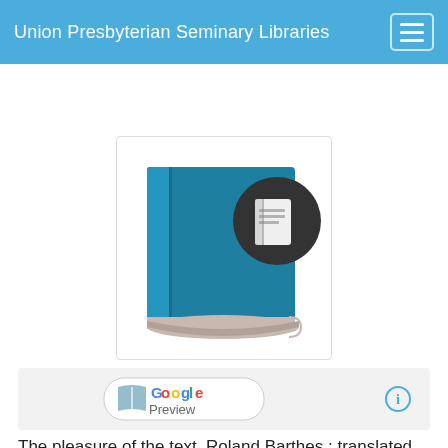Union Presbyterian Seminary Libraries
[Figure (screenshot): Borrow it dropdown button in blue]
[Figure (illustration): Blue book icon with dark circular badge showing a book/page icon overlay]
[Figure (screenshot): Google Preview button on light gray background with info icon]
The pleasure of the text, Roland Barthes ; translated by Richard Miller ; with a note on the